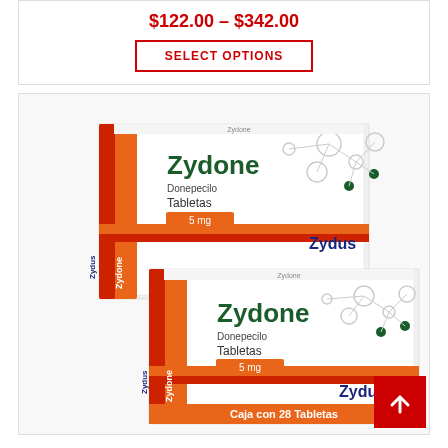$122.00 – $342.00
SELECT OPTIONS
[Figure (photo): Two boxes of Zydone (Donepecilo) Tabletas 5mg by Zydus. White boxes with orange and red accents, molecular network pattern on the side. Bottom box has 'Caja con 28 Tabletas' label in orange. Zydus logo in dark blue on upper right of each box.]